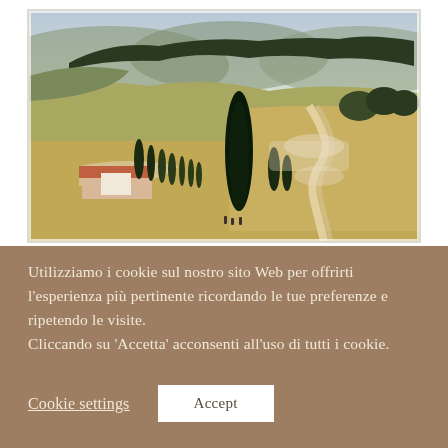[Figure (photo): Aerial/elevated view of a Tuscan landscape with rolling hills, cypress trees lining a winding dirt road, a farmhouse or villa with red-tiled roof on the left, green hills with trees in the background, and a misty/dusty atmosphere. The scene is a classic Val d'Orcia landscape in Tuscany, Italy.]
Utilizziamo i cookie sul nostro sito Web per offrirti l'esperienza più pertinente ricordando le tue preferenze e ripetendo le visite. Cliccando su 'Accetta' acconsenti all'uso di tutti i cookie.
Cookie settings
Accept